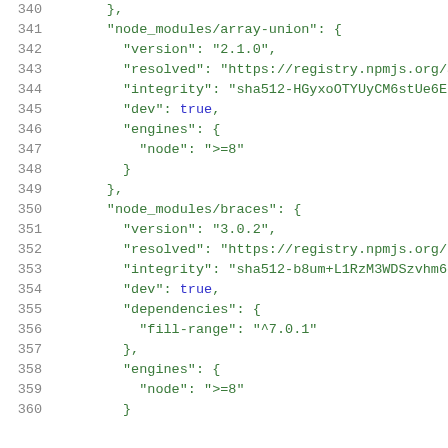340  },
341  "node_modules/array-union": {
342    "version": "2.1.0",
343    "resolved": "https://registry.npmjs.org/a
344    "integrity": "sha512-HGyxoOTYUyCM6stUe6EJ
345    "dev": true,
346    "engines": {
347      "node": ">=8"
348    }
349  },
350  "node_modules/braces": {
351    "version": "3.0.2",
352    "resolved": "https://registry.npmjs.org/b
353    "integrity": "sha512-b8um+L1RzM3WDSzvhm6g
354    "dev": true,
355    "dependencies": {
356      "fill-range": "^7.0.1"
357    },
358    "engines": {
359      "node": ">=8"
360    }